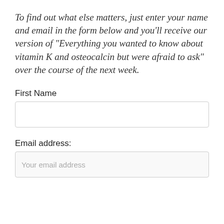To find out what else matters, just enter your name and email in the form below and you’ll receive our version of “Everything you wanted to know about vitamin K and osteocalcin but were afraid to ask” over the course of the next week.
First Name
Email address:
Your email address